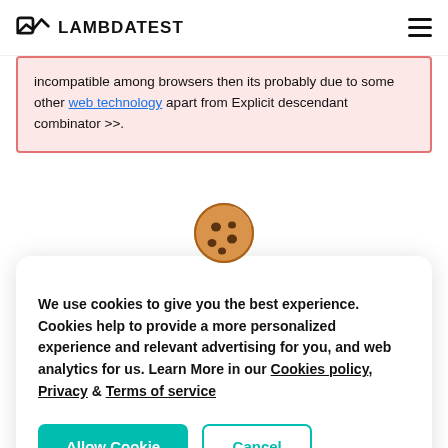LAMBDATEST
incompatible among browsers then its probably due to some other web technology apart from Explicit descendant combinator >>.
[Figure (illustration): Cookie emoji illustration — a round brown cookie with chocolate chip spots and a bite taken out]
We use cookies to give you the best experience. Cookies help to provide a more personalized experience and relevant advertising for you, and web analytics for us. Learn More in our Cookies policy, Privacy & Terms of service
Allow Cookie | Cancel